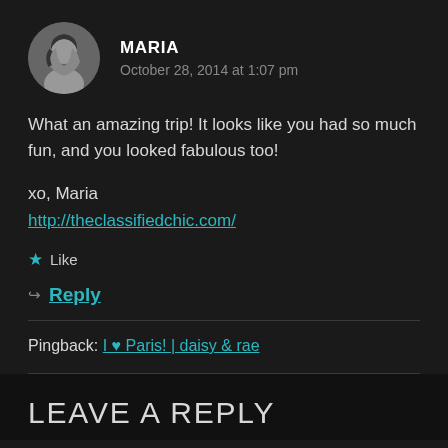MARIA
October 28, 2014 at 1:07 pm
What an amazing trip! It looks like you had so much fun, and you looked fabulous too!
xo, Maria
http://theclassifiedchic.com/
★ Like
↳ Reply
Pingback: I ♥ Paris! | daisy & rae
LEAVE A REPLY